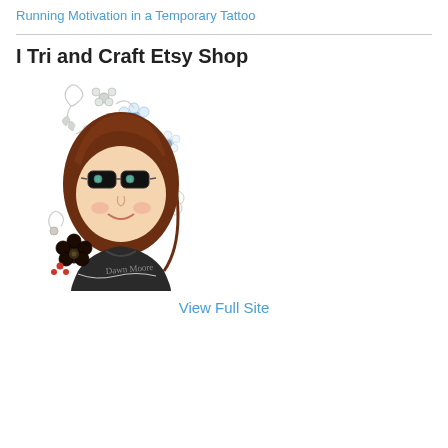Running Motivation in a Temporary Tattoo
I Tri and Craft Etsy Shop
[Figure (illustration): Cartoon illustration of a girl with brown hair and sunglasses, surrounded by decorative flowers and swirls, with the text 'Dawn Moore' written in the design. The illustration is circular with a white background.]
View Full Site